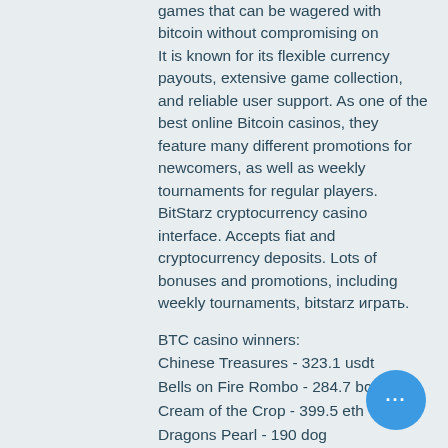games that can be wagered with bitcoin without compromising on It is known for its flexible currency payouts, extensive game collection, and reliable user support. As one of the best online Bitcoin casinos, they feature many different promotions for newcomers, as well as weekly tournaments for regular players. BitStarz cryptocurrency casino interface. Accepts fiat and cryptocurrency deposits. Lots of bonuses and promotions, including weekly tournaments, bitstarz играть.
BTC casino winners:
Chinese Treasures - 323.1 usdt
Bells on Fire Rombo - 284.7 bch
Cream of the Crop - 399.5 eth
Dragons Pearl - 190 dog
From China with Love - 696 usdt
Wu Long Jackpot - 558.1 btc
The Great Conflict - 211.8 ltc
Warlocks Book - 271.9 ltc